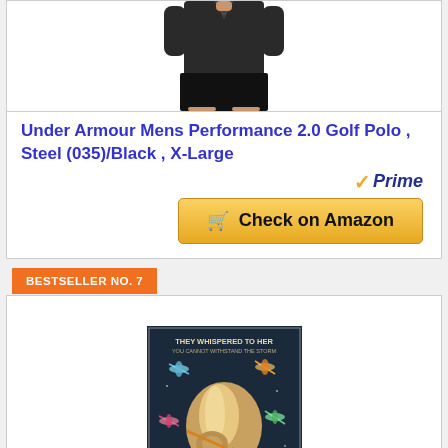[Figure (photo): Man wearing black Under Armour golf polo shirt, cropped at waist, showing lower body with black shorts]
Under Armour Mens Performance 2.0 Golf Polo , Steel (035)/Black , X-Large
[Figure (logo): Amazon Prime badge with orange checkmark and blue italic Prime text]
[Figure (other): Gold Check on Amazon button with shopping cart icon]
BESTSELLER NO. 7
[Figure (photo): Poster image showing a woman with upswept hair seen from behind surrounded by dragonflies, text reads THEY WHISPERED TO HER YOU CANNOT WITHSTAND THE STORM at top and I AM THE STORM SHE WHISPERED BACK at bottom]